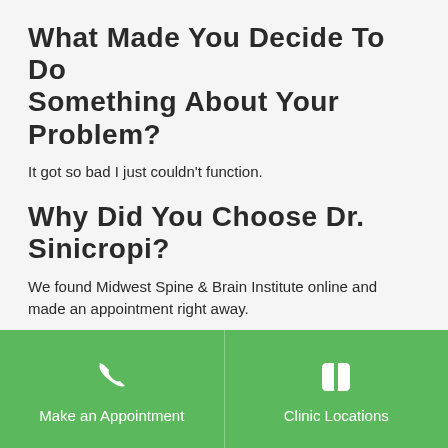What made you decide to do something about your problem?
It got so bad I just couldn't function.
Why did you choose Dr. Sinicropi?
We found Midwest Spine & Brain Institute online and made an appointment right away.
What treatment/procedure did you have done?
Lumbar Decompression...
[Figure (infographic): Green footer bar with two navigation buttons: 'Make an Appointment' with phone icon on the left, and 'Clinic Locations' with map icon on the right.]